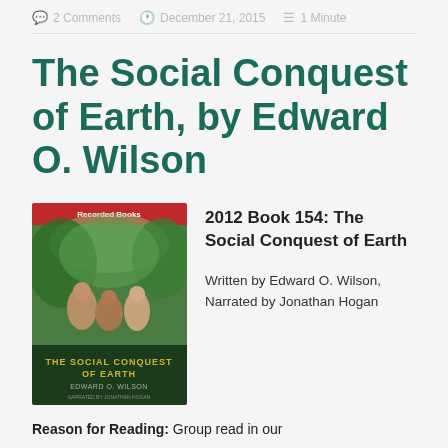2 Comments   December 21, 2015   1 Minute
The Social Conquest of Earth, by Edward O. Wilson
[Figure (photo): Book cover of 'The Social Conquest of Earth' by Edward O. Wilson, published by Recorded Books. Cover shows people in a lush green setting. The bottom portion has the book title and author name text on a dark background.]
2012 Book 154: The Social Conquest of Earth
Written by Edward O. Wilson, Narrated by Jonathan Hogan
Reason for Reading: Group read in our